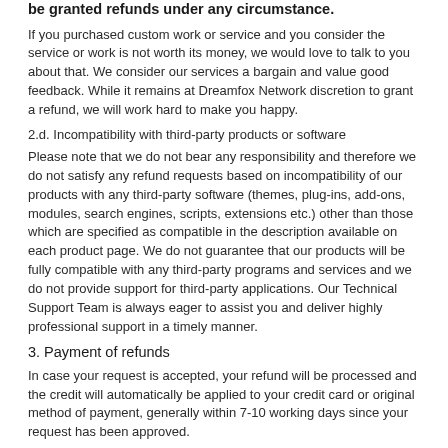be granted refunds under any circumstance.
If you purchased custom work or service and you consider the service or work is not worth its money, we would love to talk to you about that. We consider our services a bargain and value good feedback. While it remains at Dreamfox Network discretion to grant a refund, we will work hard to make you happy.
2.d. Incompatibility with third-party products or software
Please note that we do not bear any responsibility and therefore we do not satisfy any refund requests based on incompatibility of our products with any third-party software (themes, plug-ins, add-ons, modules, search engines, scripts, extensions etc.) other than those which are specified as compatible in the description available on each product page. We do not guarantee that our products will be fully compatible with any third-party programs and services and we do not provide support for third-party applications. Our Technical Support Team is always eager to assist you and deliver highly professional support in a timely manner.
3. Payment of refunds
In case your request is accepted, your refund will be processed and the credit will automatically be applied to your credit card or original method of payment, generally within 7-10 working days since your request has been approved.
4. Late or missing refunds (if applicable)